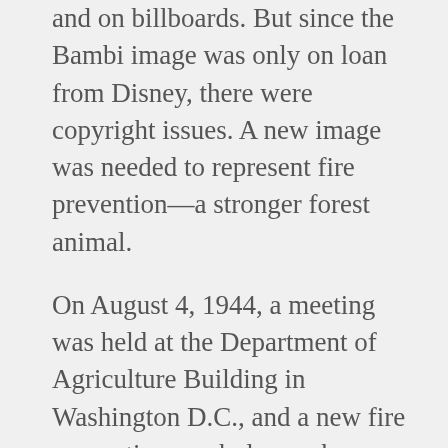and on billboards. But since the Bambi image was only on loan from Disney, there were copyright issues. A new image was needed to represent fire prevention—a stronger forest animal.
On August 4, 1944, a meeting was held at the Department of Agriculture Building in Washington D.C., and a new fire prevention symbol was chosen—a bear. A well-known animal artist, Albert Staehle, created a poster that depicted a bear throwing water on a campfire.  His sketches were approved, but the bear was said to lack emotional appeal. More discussion ensued.
Richard Hammatt, the director of the Wartime Forest Fire Prevention Campaign, suggested naming the bear "Smokey Bear." Bill Bergoffen recommended